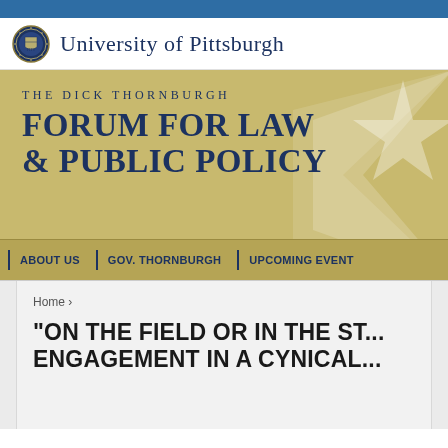University of Pittsburgh
[Figure (screenshot): The Dick Thornburgh Forum for Law & Public Policy banner with gold background, large blue serif text, a star graphic on the right, and navigation links: ABOUT US | GOV. THORNBURGH | UPCOMING EVENT]
Home ›
"ON THE FIELD OR IN THE ST... ENGAGEMENT IN A CYNICAL...